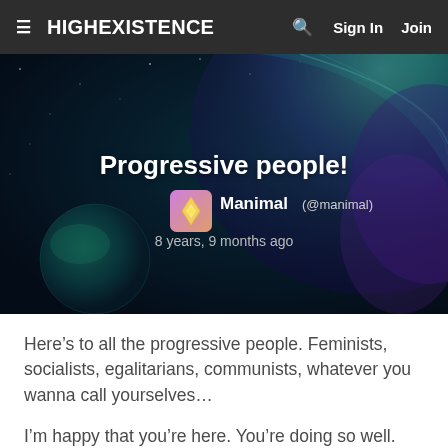≡ HIGHEXISTENCE  🔍  Sign In  Join
[Figure (photo): Hero banner showing Earth and a smaller planet against a dark space background with teal and purple tones. Centered text overlay shows article title, author avatar, name, handle, and timestamp.]
Progressive people!
Manimal (@manimal)
8 years, 9 months ago
Here's to all the progressive people. Feminists, socialists, egalitarians, communists, whatever you wanna call yourselves...
I'm happy that you're here. You're doing so well.
Let me clarify: I'm happy that you're here because...